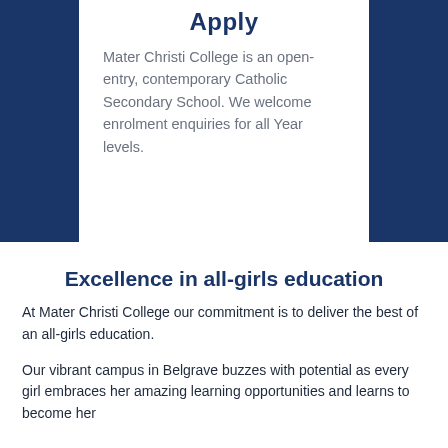Apply
Mater Christi College is an open-entry, contemporary Catholic Secondary School. We welcome enrolment enquiries for all Year levels.
Excellence in all-girls education
At Mater Christi College our commitment is to deliver the best of an all-girls education.
Our vibrant campus in Belgrave buzzes with potential as every girl embraces her amazing learning opportunities and learns to become her